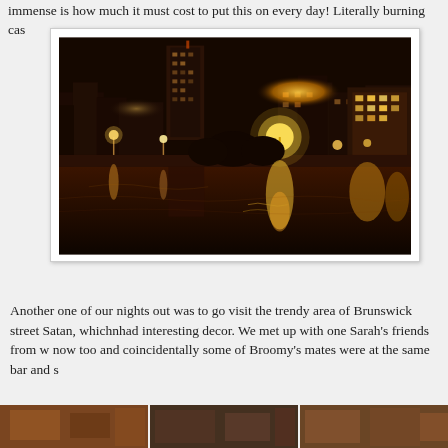immense is how much it must cost to put this on every day! Literally burning cas
[Figure (photo): Nighttime cityscape reflected in a river, with illuminated skyscrapers and street lights creating warm golden and amber reflections on the water]
Another one of our nights out was to go visit the trendy area of Brunswick street Satan, whichnhad interesting decor. We met up with one Sarah's friends from w now too and coincidentally some of Broomy's mates were at the same bar and s
[Figure (photo): Partial thumbnail strip of photos at bottom of page]